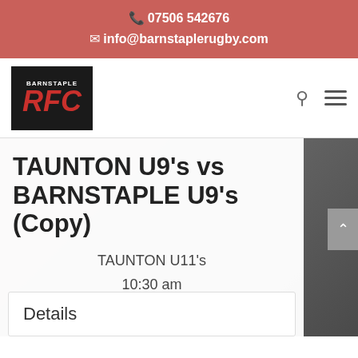📞 07506 542676
✉ info@barnstaplerugby.com
[Figure (logo): Barnstaple RFC logo — black background with red italic RFC text and BARNSTAPLE text above]
TAUNTON U9's vs BARNSTAPLE U9's (Copy)
TAUNTON U11's
10:30 am
BARNSTAPLE U11's
Details